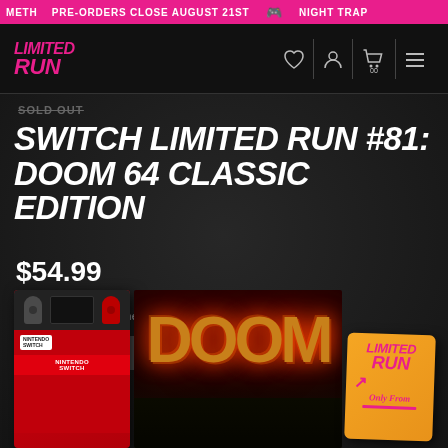METH  PRE-ORDERS CLOSE AUGUST 21ST  🎮  NIGHT TRAP
[Figure (logo): Limited Run Games logo in pink italic text, with navigation icons (heart, user, cart, menu)]
SOLD OUT
SWITCH LIMITED RUN #81: DOOM 64 CLASSIC EDITION
$54.99
or 4 interest-free payments of $13.75 with Sezzle
SOLD OUT
[Figure (photo): Nintendo Switch game box for DOOM 64 with Limited Run Games badge, showing DOOM logo on dark background]